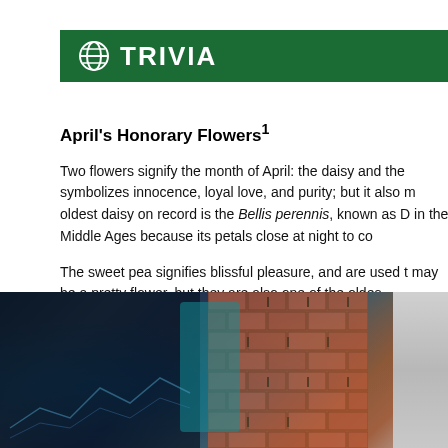⊕ TRIVIA
April's Honorary Flowers¹
Two flowers signify the month of April: the daisy and the symbolizes innocence, loyal love, and purity; but it also r oldest daisy on record is the Bellis perennis, known as D in the Middle Ages because its petals close at night to co
The sweet pea signifies blissful pleasure, and are used t may be a pretty flower, but they are also one of the oldes domesticated by humans about 11,000 years ago.
[Figure (photo): Dark background photo showing a person near a brick wall with a digital screen or monitor, teal-colored figure visible, financial or data chart overlay on dark background]